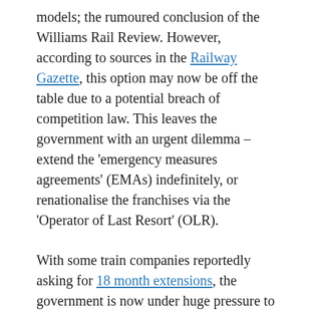models; the rumoured conclusion of the Williams Rail Review. However, according to sources in the Railway Gazette, this option may now be off the table due to a potential breach of competition law. This leaves the government with an urgent dilemma – extend the 'emergency measures agreements' (EMAs) indefinitely, or renationalise the franchises via the 'Operator of Last Resort' (OLR).
With some train companies reportedly asking for 18 month extensions, the government is now under huge pressure to make a decision on what will happen when the EMAs run out in September. And it's possible that a decision could be made as soon as next month.